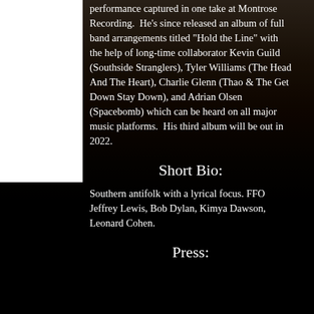performance captured in one take at Montrose Recording.  He's since released an album of full band arrangements titled "Hold the Line" with the help of long-time collaborator Kevin Guild (Southside Stranglers), Tyler Williams (The Head And The Heart), Charlie Glenn (Thao & The Get Down Stay Down), and Adrian Olsen (Spacebomb) which can be heard on all major music platforms.  His third album will be out in 2022.
Short Bio:
Southern antifolk with a lyrical focus. FFO Jeffrey Lewis, Bob Dylan, Kimya Dawson, Leonard Cohen.
Press: